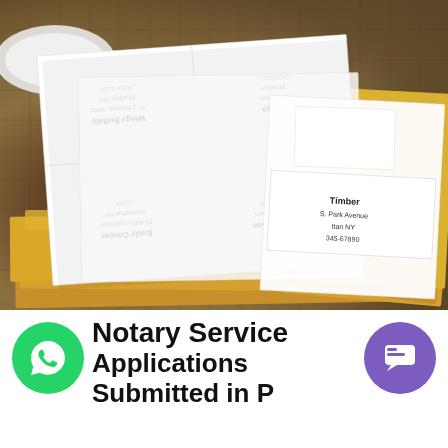[Figure (photo): Photo of multiple white mailing labels and sheets of paper with printed addresses (including 'Wings Buffalo', 'Summer Wilson', 'Emily Cooper', 'Timber') laid on top of golden/manila envelopes, stacked on a fabric surface. Text on labels appears upside down.]
Notary Service Applications Submitted in P...